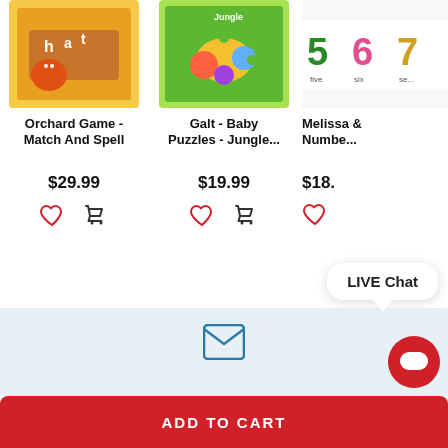[Figure (photo): Product image for Orchard Game - Match And Spell, colorful educational game box]
[Figure (photo): Product image for Galt - Baby Puzzles - Jungle, green puzzle box with jungle animals]
[Figure (photo): Partial product image for Melissa & Doug Numbers product, showing numbers 5 6 7]
Orchard Game - Match And Spell
Galt - Baby Puzzles - Jungle...
Melissa & Numbe...
$29.99
$19.99
$18.
LIVE Chat
ADD TO CART